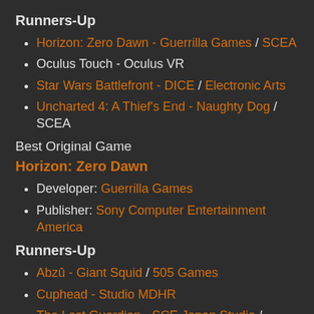Runners-Up
Horizon: Zero Dawn - Guerrilla Games / SCEA
Oculus Touch - Oculus VR
Star Wars Battlefront - DICE / Electronic Arts
Uncharted 4: A Thief's End - Naughty Dog / SCEA
Best Original Game
Horizon: Zero Dawn
Developer: Guerrilla Games
Publisher: Sony Computer Entertainment America
Runners-Up
Abzû - Giant Squid / 505 Games
Cuphead - Studio MDHR
The Last Guardian - SCE Japan Studio / SCEA
Unravel - Coldwood Interactive / Electronic Arts